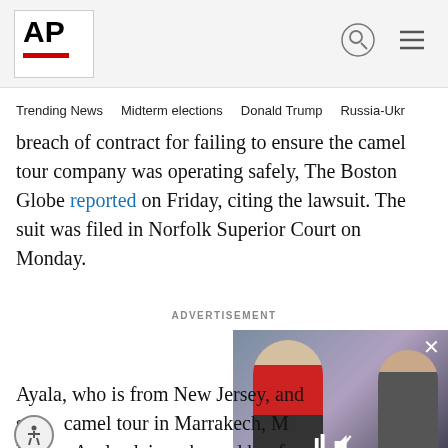AP
Trending News  Midterm elections  Donald Trump  Russia-Ukr
breach of contract for failing to ensure the camel tour company was operating safely, The Boston Globe reported on Friday, citing the lawsuit. The suit was filed in Norfolk Superior Court on Monday.
ADVERTISEMENT
[Figure (photo): Video overlay showing two men, one in a red tie, with mute icon and close button]
Ayala, who is from New Jersey, and s camel tour in Marrakech, M Viator. Ayala claims she and her fa